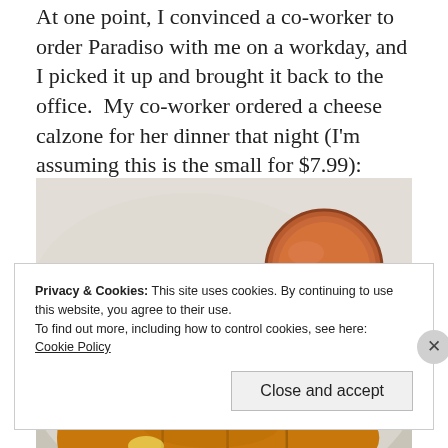At one point, I convinced a co-worker to order Paradiso with me on a workday, and I picked it up and brought it back to the office. My co-worker ordered a cheese calzone for her dinner that night (I'm assuming this is the small for $7.99):
[Figure (photo): A golden-brown baked calzone on a plate with a small round container of dipping sauce (marinara) in the upper right corner.]
Privacy & Cookies: This site uses cookies. By continuing to use this website, you agree to their use.
To find out more, including how to control cookies, see here: Cookie Policy